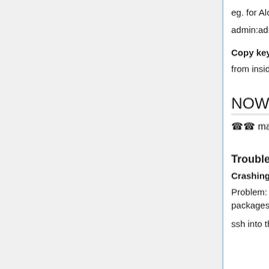eg. for Alotepec: 10.23.1.16/rai
admin:admin1
Copy keys to BTS from BSC
from inside BSC: ssh-copy-id root@172.16.0.11
NOW TEST IT!
☎☎ make some calls! ☎☎
Troubleshooting
Crashing network script:
Problem: Sometimes setup-bts.py has trouble with updating packages.
ssh into the BTS and run package scripts by hand: